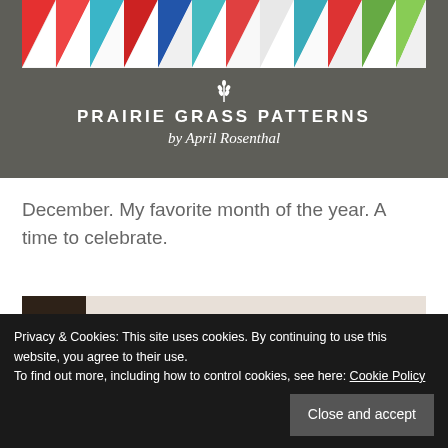[Figure (photo): Prairie Grass Patterns banner image with colorful quilt fabric strip at top on gray wood-grain background, with wheat icon, brand name PRAIRIE GRASS PATTERNS and tagline by April Rosenthal in white text]
December. My favorite month of the year. A time to celebrate.
[Figure (photo): Partial photograph of quilt fabric on dark brown background, showing colorful patterned fabric with red, blue and cream prints]
Privacy & Cookies: This site uses cookies. By continuing to use this website, you agree to their use.
To find out more, including how to control cookies, see here: Cookie Policy